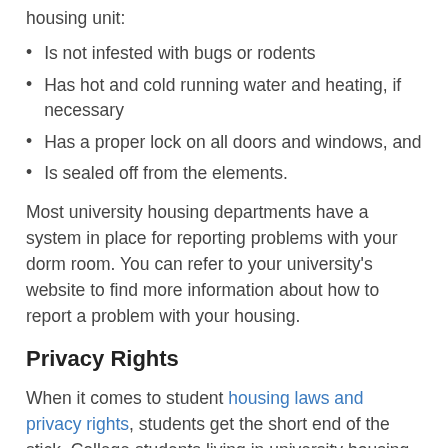housing unit:
Is not infested with bugs or rodents
Has hot and cold running water and heating, if necessary
Has a proper lock on all doors and windows, and
Is sealed off from the elements.
Most university housing departments have a system in place for reporting problems with your dorm room. You can refer to your university's website to find more information about how to report a problem with your housing.
Privacy Rights
When it comes to student housing laws and privacy rights, students get the short end of the stick. College students living in university housing have less robust privacy rights than tenants living in regular rental properties. For example, in an apartment, a landlord would be required to give notice